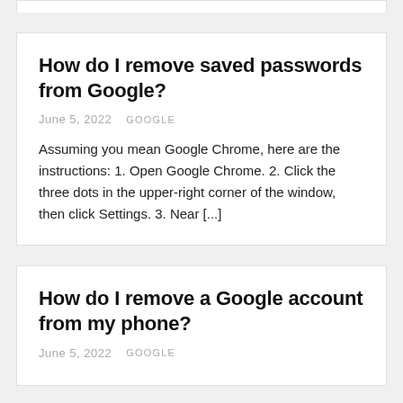How do I remove saved passwords from Google?
June 5, 2022   GOOGLE
Assuming you mean Google Chrome, here are the instructions: 1. Open Google Chrome. 2. Click the three dots in the upper-right corner of the window, then click Settings. 3. Near [...]
How do I remove a Google account from my phone?
June 5, 2022   GOOGLE